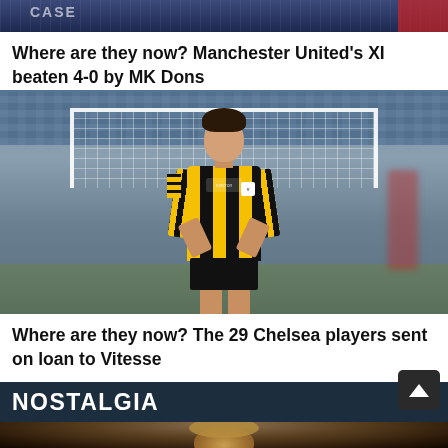[Figure (photo): Cropped top of a sports photo (partially visible), showing dark blue/navy background, appears to be stadium or sports event imagery]
Where are they now? Manchester United's XI beaten 4-0 by MK Dons
[Figure (photo): A young male footballer wearing a yellow and black striped Vitesse Arnhem kit with Macron branding, running in front of a goal net with stadium seats visible in background]
Where are they now? The 29 Chelsea players sent on loan to Vitesse
NOSTALGIA
[Figure (photo): Partially visible photo showing the top of a person's head with blonde/golden hair, dark background — nostalgia section teaser image]